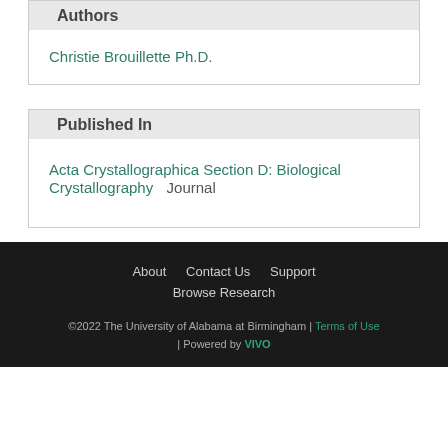Authors
Christie Brouillette Ph.D.
Published In
Acta Crystallographica Section D: Biological Crystallography   Journal
About   Contact Us   Support   Browse Research   ©2022 The University of Alabama at Birmingham | Terms of Use | Powered by VIVO